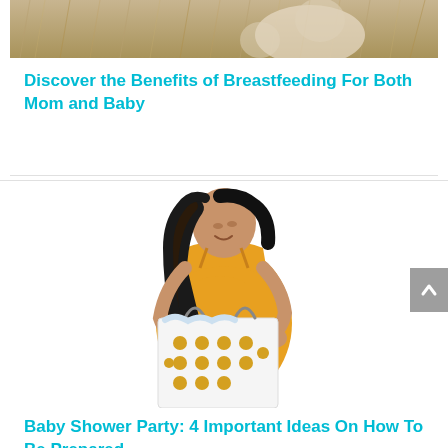[Figure (photo): Partial view of a woman sitting in dried golden grass/hay field, wearing cream/beige clothing, with a baby or child nearby. Image is cropped, showing lower portion only.]
Discover the Benefits of Breastfeeding For Both Mom and Baby
[Figure (photo): Pregnant woman in a yellow/mustard spaghetti-strap dress smiling and looking into a white gift bag with gold polka dots, on a white background.]
Baby Shower Party: 4 Important Ideas On How To Be Prepared